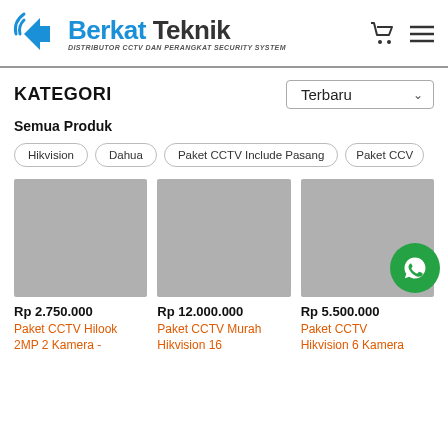Berkat Teknik – DISTRIBUTOR CCTV DAN PERANGKAT SECURITY SYSTEM
KATEGORI
Terbaru
Semua Produk
Hikvision
Dahua
Paket CCTV Include Pasang
Paket CCV
[Figure (photo): Product image placeholder – grey square]
Rp 2.750.000
Paket CCTV Hilook 2MP 2 Kamera -
[Figure (photo): Product image placeholder – grey square]
Rp 12.000.000
Paket CCTV Murah Hikvision 16
[Figure (photo): Product image placeholder – grey square]
Rp 5.500.000
Paket CCTV Hikvision 6 Kamera